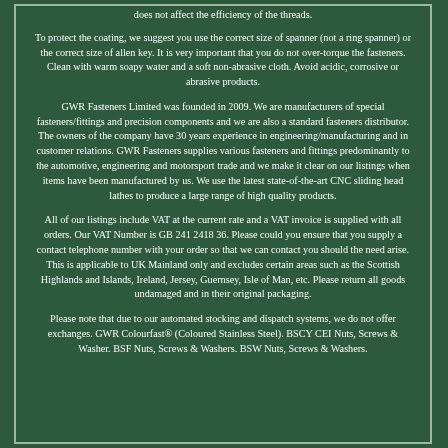does not affect the efficiency of the threads.
To protect the coating, we suggest you use the correct size of spanner (not a ring spanner) or the correct size of allen key. It is very important that you do not over-torque the fasteners. Clean with warm soapy water and a soft non-abrasive cloth. Avoid acidic, corrosive or abrasive products.
GWR Fasteners Limited was founded in 2009. We are manufacturers of special fasteners/fittings and precision components and we are also a standard fasteners distributor. The owners of the company have 30 years experience in engineering/manufacturing and in customer relations. GWR Fasteners supplies various fasteners and fittings predominantly to the automotive, engineering and motorsport trade and we make it clear on our listings when items have been manufactured by us. We use the latest state-of-the-art CNC sliding head lathes to produce a large range of high quality products.
All of our listings include VAT at the current rate and a VAT invoice is supplied with all orders. Our VAT Number is GB 241 2418 36. Please could you ensure that you supply a contact telephone number with your order so that we can contact you should the need arise. This is applicable to UK Mainland only and excludes certain areas such as the Scottish Highlands and Islands, Ireland, Jersey, Guernsey, Isle of Man, etc. Please return all goods undamaged and in their original packaging.
Please note that due to our automated stocking and dispatch systems, we do not offer exchanges. GWR Colourfast® (Coloured Stainless Steel). BSCY CEI Nuts, Screws & Washer. BSF Nuts, Screws & Washers. BSW Nuts, Screws & Washers.